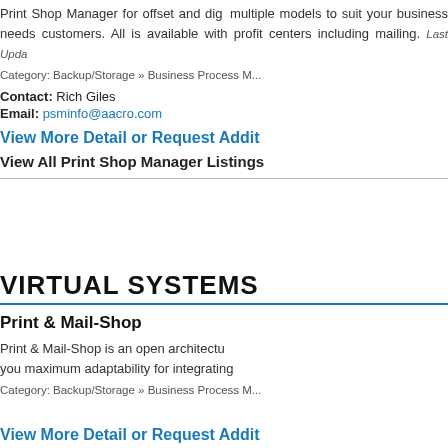Print Shop Manager for offset and digital printing operations, multiple models to suit your business needs customers. All is available with profit centers including mailing. Last Upda...
Category: Backup/Storage » Business Process M...
Contact: Rich Giles
Email: psminfo@aacro.com
View More Detail or Request Addit...
View All Print Shop Manager Listings...
VIRTUAL SYSTEMS
Print & Mail-Shop
Print & Mail-Shop is an open architectu... you maximum adaptability for integrating...
Category: Backup/Storage » Business Process M...
View More Detail or Request Addit...
View All Virtual Systems Listings